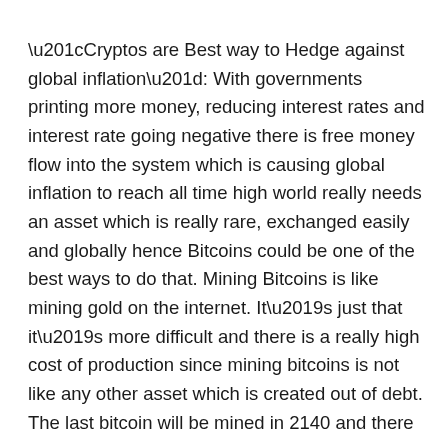“Cryptos are Best way to Hedge against global inflation”: With governments printing more money, reducing interest rates and interest rate going negative there is free money flow into the system which is causing global inflation to reach all time high world really needs an asset which is really rare, exchanged easily and globally hence Bitcoins could be one of the best ways to do that. Mining Bitcoins is like mining gold on the internet. It’s just that it’s more difficult and there is a really high cost of production since mining bitcoins is not like any other asset which is created out of debt. The last bitcoin will be mined in 2140 and there is no possible way one can extract all bitcoins at once unlike gold ( where miners & mediators like bank/traders/central bodies decide /control the value and supply of assets like gold, oil etc). Bitcoins to lot of extents are community driven,